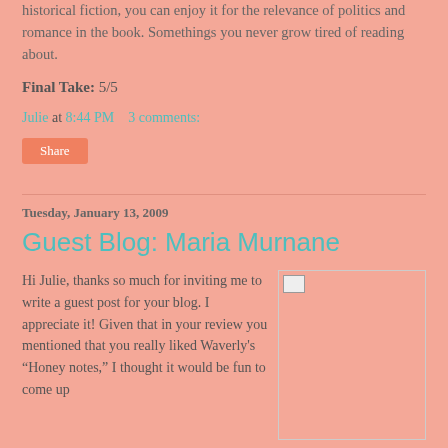historical fiction, you can enjoy it for the relevance of politics and romance in the book. Somethings you never grow tired of reading about.
Final Take: 5/5
Julie at 8:44 PM   3 comments:
Share
Tuesday, January 13, 2009
Guest Blog: Maria Murnane
[Figure (photo): Small image thumbnail with broken image icon in upper left of image box]
Hi Julie, thanks so much for inviting me to write a guest post for your blog. I appreciate it! Given that in your review you mentioned that you really liked Waverly's “Honey notes,” I thought it would be fun to come up